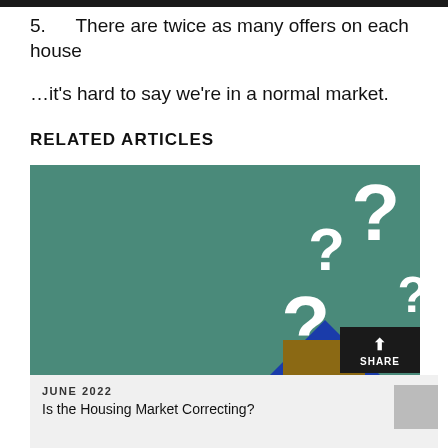5. There are twice as many offers on each house
…it's hard to say we're in a normal market.
RELATED ARTICLES
[Figure (photo): Green chalkboard background with white question marks and a small house model (blue triangle roof, wooden body) in the bottom right corner. A black 'SHARE' badge overlaid at bottom right.]
JUNE 2022
Is the Housing Market Correcting?